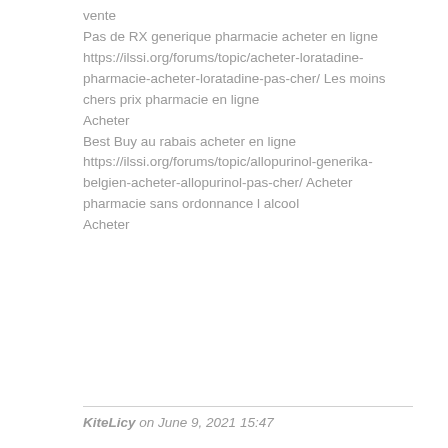vente
Pas de RX generique pharmacie acheter en ligne
https://ilssi.org/forums/topic/acheter-loratadine-pharmacie-acheter-loratadine-pas-cher/ Les moins chers prix pharmacie en ligne
Acheter
Best Buy au rabais acheter en ligne https://ilssi.org/forums/topic/allopurinol-generika-belgien-acheter-allopurinol-pas-cher/ Acheter pharmacie sans ordonnance l alcool
Acheter
KiteLicy on June 9, 2021 15:47